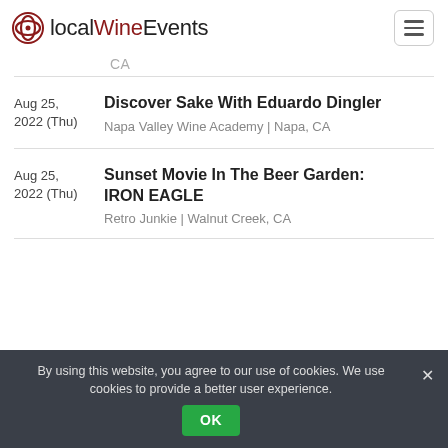localWineEvents
CA
Discover Sake With Eduardo Dingler
Napa Valley Wine Academy | Napa, CA
Aug 25, 2022 (Thu)
Sunset Movie In The Beer Garden: IRON EAGLE
Retro Junkie | Walnut Creek, CA
Aug 25, 2022 (Thu)
By using this website, you agree to our use of cookies. We use cookies to provide a better user experience.